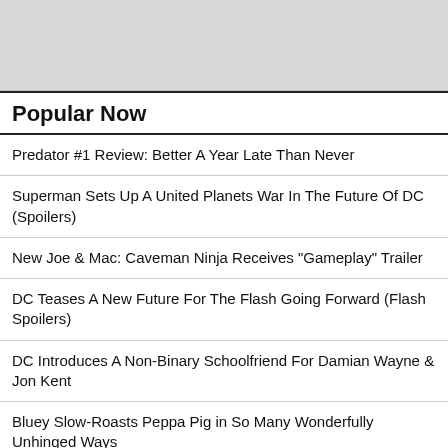[Figure (other): Gray banner/advertisement placeholder at top of page]
Popular Now
Predator #1 Review: Better A Year Late Than Never
Superman Sets Up A United Planets War In The Future Of DC (Spoilers)
New Joe & Mac: Caveman Ninja Receives "Gameplay" Trailer
DC Teases A New Future For The Flash Going Forward (Flash Spoilers)
DC Introduces A Non-Binary Schoolfriend For Damian Wayne & Jon Kent
Bluey Slow-Roasts Peppa Pig in So Many Wonderfully Unhinged Ways
Yellowstone S05 Teaser: Time for The World to Get to Know The Duttons